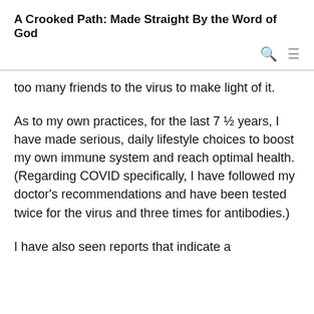A Crooked Path: Made Straight By the Word of God
too many friends to the virus to make light of it.
As to my own practices, for the last 7 ½ years, I have made serious, daily lifestyle choices to boost my own immune system and reach optimal health. (Regarding COVID specifically, I have followed my doctor's recommendations and have been tested twice for the virus and three times for antibodies.)
I have also seen reports that indicate a significantly higher…